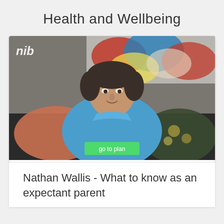Health and Wellbeing
[Figure (screenshot): Video thumbnail showing a man in a blue shirt sitting on a couch with colorful artwork behind him. NIB logo in top left. Green 'go to plan' button overlay at bottom center.]
Nathan Wallis - What to know as an expectant parent